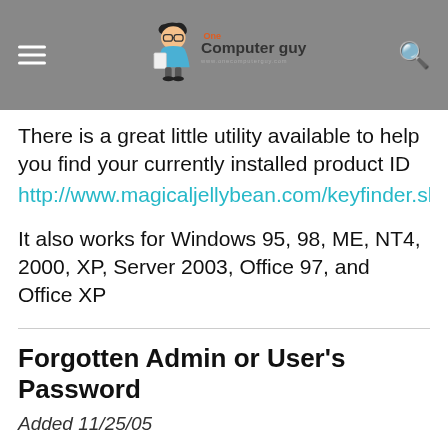One Computer Guy — www.onecomputerguy.com
There is a great little utility available to help you find your currently installed product ID http://www.magicaljellybean.com/keyfinder.shtml
It also works for Windows 95, 98, ME, NT4, 2000, XP, Server 2003, Office 97, and Office XP
Forgotten Admin or User's Password
Added 11/25/05
You do not need to reinstall if you forgot the admin password.